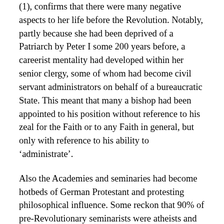(1), confirms that there were many negative aspects to her life before the Revolution. Notably, partly because she had been deprived of a Patriarch by Peter I some 200 years before, a careerist mentality had developed within her senior clergy, some of whom had become civil servant administrators on behalf of a bureaucratic State. This meant that many a bishop had been appointed to his position without reference to his zeal for the Faith or to any Faith in general, but only with reference to his ability to 'administrate'.
Also the Academies and seminaries had become hotbeds of German Protestant and protesting philosophical influence. Some reckon that 90% of pre-Revolutionary seminarists were atheists and revolutionaries – among them many a Bolshevik, including Joseph Jugashvili, later called Stalin, who was ejected from one. An example of a product of an Academy was the very senior Protopresbyter George Shavelsky, a treacherous bureaucrat who had little time for piety, which he dismissed as 'mysticism'. He was also an